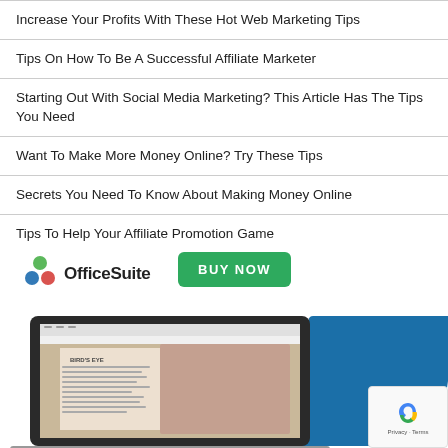Increase Your Profits With These Hot Web Marketing Tips
Tips On How To Be A Successful Affiliate Marketer
Starting Out With Social Media Marketing? This Article Has The Tips You Need
Want To Make More Money Online? Try These Tips
Secrets You Need To Know About Making Money Online
Tips To Help Your Affiliate Promotion Game
[Figure (screenshot): OfficeSuite advertisement with logo, BUY NOW button, and laptop showing document editor with bird's eye image]